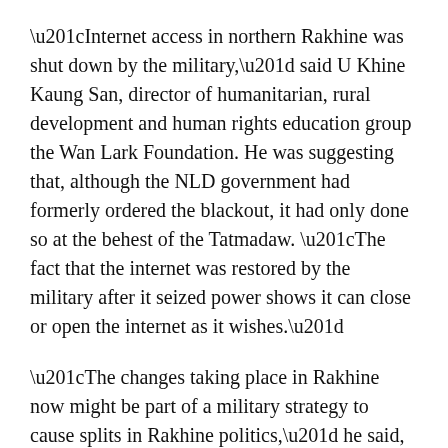“Internet access in northern Rakhine was shut down by the military,” said U Khine Kaung San, director of humanitarian, rural development and human rights education group the Wan Lark Foundation. He was suggesting that, although the NLD government had formerly ordered the blackout, it had only done so at the behest of the Tatmadaw. “The fact that the internet was restored by the military after it seized power shows it can close or open the internet as it wishes.”
“The changes taking place in Rakhine now might be part of a military strategy to cause splits in Rakhine politics,” he said, adding that Rakhine political parties needed to respond with caution and resolve.